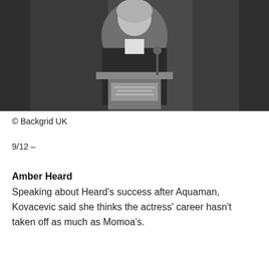[Figure (photo): A person in dark robes and white collar at a podium or lectern, appearing to be in an official or legal setting. Grayscale/muted photo.]
© Backgrid UK
9/12 –
Amber Heard
Speaking about Heard's success after Aquaman, Kovacevic said she thinks the actress' career hasn't taken off as much as Momoa's.